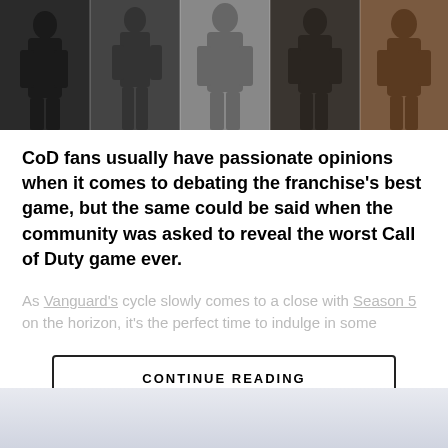[Figure (photo): Five dark cinematic panels showing Call of Duty game characters / soldiers in action poses, arranged side by side as a banner header image.]
CoD fans usually have passionate opinions when it comes to debating the franchise's best game, but the same could be said when the community was asked to reveal the worst Call of Duty game ever.
As Vanguard's cycle slowly comes to a close with Season 5 on the horizon, it's the perfect time to indulge in some
CONTINUE READING
CALL OF DUTY